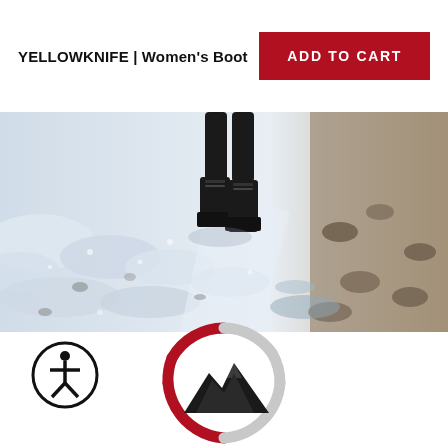YELLOWKNIFE | Women's Boot
ADD TO CART
[Figure (photo): Woman wearing black winter boots walking on snowy and rocky terrain, viewed from behind and low angle]
[Figure (logo): Accessibility icon: person in circle]
[Figure (logo): Brand logo: mountain silhouette inside circular badge with red and grey dashed ring segments]